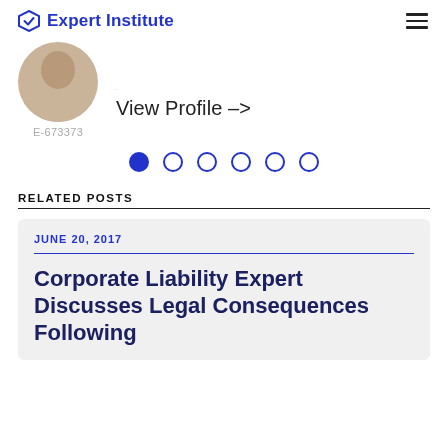Expert Institute
[Figure (photo): Partial profile photo of a person, circular crop, showing chin/lower face. Below the photo is the ID text E-673373.]
View Profile –>
[Figure (infographic): Pagination dots: one filled blue circle followed by five empty circles]
RELATED POSTS
JUNE 20, 2017
Corporate Liability Expert Discusses Legal Consequences Following